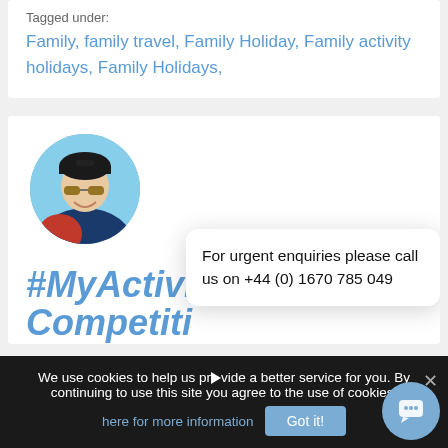Tagged under:
Family, family travel, Family Holiday, Family activity holidays, Family Holidays,
[Figure (photo): Circular profile photo of a person wearing a black North Face beanie hat and sunglasses, smiling outdoors in winter gear]
#MyActivitiesAbroad
Competiti
For urgent enquiries please call us on +44 (0) 1670 785 049
We use cookies to help us provide a better service for you. By continuing to use this site you agree to the use of cookies. click here for more information
Got it!